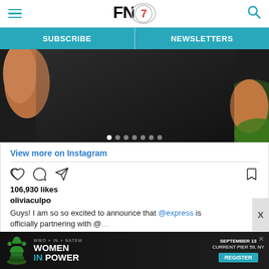FN7 — Navigation bar with hamburger menu, FN7 logo, and search icon
SUBSCRIBE | NEWSLETTERS
[Figure (photo): Instagram post image showing a person wearing a black fitted t-shirt, with green foliage in the background. Carousel dot indicators visible at bottom.]
View more on Instagram
106,930 likes
oliviaculpo
Guys! I am so so excited to announce that @express is officially partnering with @...
[Figure (infographic): Advertisement banner: WWD x IN x NATEM — WOMEN IN POWER — September 13, Current Pier 59, NY — REGISTER button]